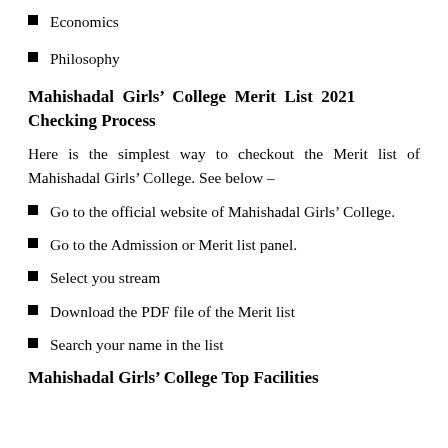Economics
Philosophy
Mahishadal Girls’ College Merit List 2021 Checking Process
Here is the simplest way to checkout the Merit list of Mahishadal Girls’ College. See below –
Go to the official website of Mahishadal Girls’ College.
Go to the Admission or Merit list panel.
Select you stream
Download the PDF file of the Merit list
Search your name in the list
Mahishadal Girls’ College Top Facilities